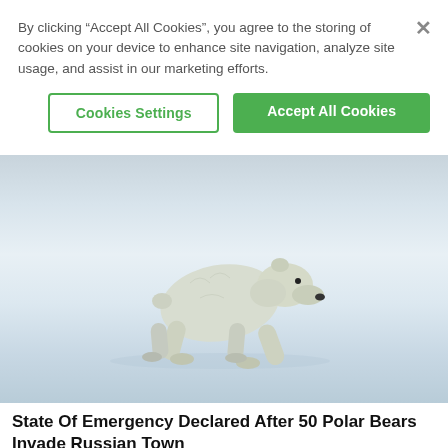By clicking “Accept All Cookies”, you agree to the storing of cookies on your device to enhance site navigation, analyze site usage, and assist in our marketing efforts.
Cookies Settings
Accept All Cookies
[Figure (photo): A polar bear walking on snow/ice in a low crouching stride, photographed against a pale wintry background.]
State Of Emergency Declared After 50 Polar Bears Invade Russian Town